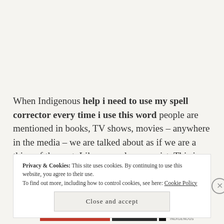When Indigenous help i need to use my spell corrector every time i use this word people are mentioned in books, TV shows, movies – anywhere in the media – we are talked about as if we are a thing of the past. Like we no longer exist. This is so wrong. This is why I never felt
Privacy & Cookies: This site uses cookies. By continuing to use this website, you agree to their use.
To find out more, including how to control cookies, see here: Cookie Policy
Close and accept